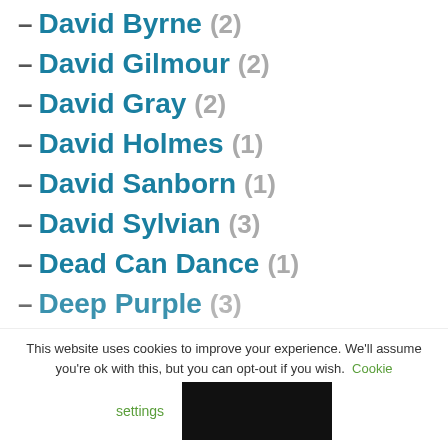– David Byrne (2)
– David Gilmour (2)
– David Gray (2)
– David Holmes (1)
– David Sanborn (1)
– David Sylvian (3)
– Dead Can Dance (1)
– Deep Purple (3)
This website uses cookies to improve your experience. We'll assume you're ok with this, but you can opt-out if you wish. Cookie settings [Accept]